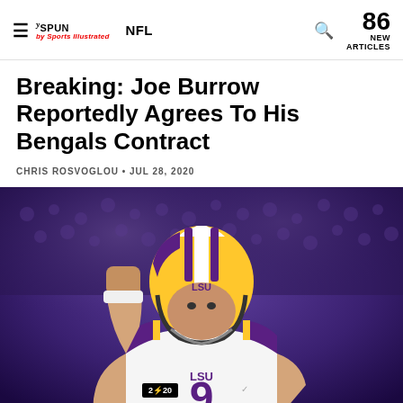THE SPUN by Sports Illustrated | NFL | 86 NEW ARTICLES
Breaking: Joe Burrow Reportedly Agrees To His Bengals Contract
CHRIS ROSVOGLOU • JUL 28, 2020
[Figure (photo): Joe Burrow wearing LSU #9 jersey and gold/white helmet with fist raised in celebration, 2020 CFP Championship patch visible on jersey]